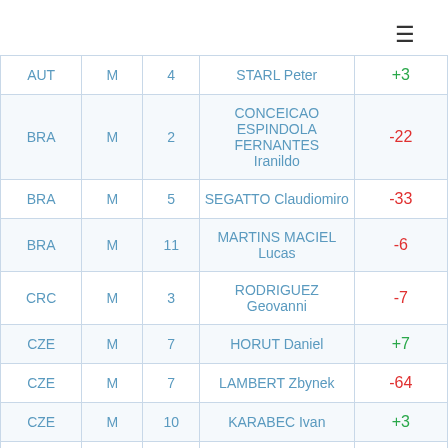| NAT | GEN | NUM | NAME | SCORE |
| --- | --- | --- | --- | --- |
| AUT | M | 4 | STARL Peter | +3 |
| BRA | M | 2 | CONCEICAO ESPINDOLA FERNANTES Iranildo | -22 |
| BRA | M | 5 | SEGATTO Claudiomiro | -33 |
| BRA | M | 11 | MARTINS MACIEL Lucas | -6 |
| CRC | M | 3 | RODRIGUEZ Geovanni | -7 |
| CZE | M | 7 | HORUT Daniel | +7 |
| CZE | M | 7 | LAMBERT Zbynek | -64 |
| CZE | M | 10 | KARABEC Ivan | +3 |
| DEN | M | 6 | JENSEN Michael | +12 |
| DEN | M | 6 | ROSENMEIER Peter | +3 |